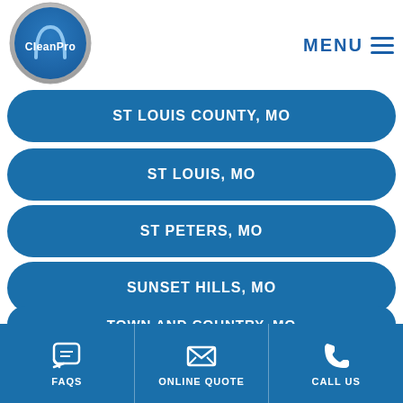[Figure (logo): CleanPro logo with St. Louis arch graphic, circular silver badge]
MENU
ST LOUIS COUNTY, MO
ST LOUIS, MO
ST PETERS, MO
SUNSET HILLS, MO
TOWN AND COUNTRY, MO
TWIN OAKS, MO
FAQS   ONLINE QUOTE   CALL US